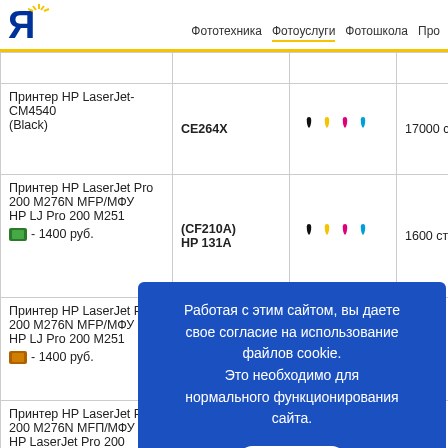Я | Фототехника  Фотоуслуги  Фотошкола  Про
| Принтер | Артикул | Цвет | Ресурс |
| --- | --- | --- | --- |
| Принтер HP LaserJet-CM4540 (Black) | CE264X | (ink icons) | 17000 стр. |
| Принтер HP LaserJet Pro 200 M276N MFP/МФУ HP LJ Pro 200 M251 [chip] - 1400 руб. | (CF210A) HP 131A | (ink icons) | 1600 стр. |
| Принтер HP LaserJet Pro 200 M276N MFP/МФУ HP LJ Pro 200 M251 [chip] - 1400 руб. | — | — | — |
| Принтер HP LaserJet Pro 200 M276N MFP/МФУ HP LaserJet Pro 200 M251 | — | — | — |
Работая с этим сайтом, вы даете свое согласие на использование файлов cookie. Это необходимо для нормального функционирования сайта.
OK